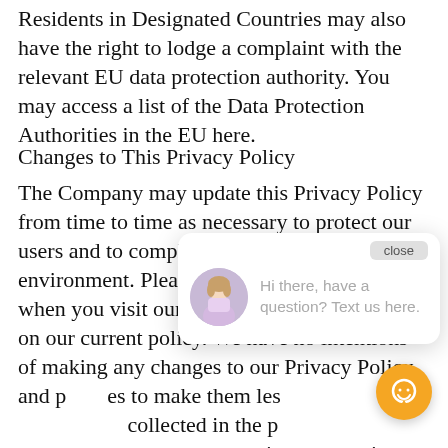Residents in Designated Countries may also have the right to lodge a complaint with the relevant EU data protection authority. You may access a list of the Data Protection Authorities in the EU here.
Changes to This Privacy Policy
The Company may update this Privacy Policy from time to time as necessary to protect our users and to comply with a changing environment. Please review the Privacy Policy when you visit our Website to remain updated on our current policy. We have no intentions of making any changes to our Privacy Policy and [p]es to make them les[s] collected in the p[ast] using our service[s] [th]is Privacy Policy, y[ou] changes. Please be aware that, to the extent permitted by applicable law, our use of the Information is governed by the Privacy Policy in effect at the t[ime we] collect the information. You are advised to review this Privacy Policy periodically for any changes. Whe...